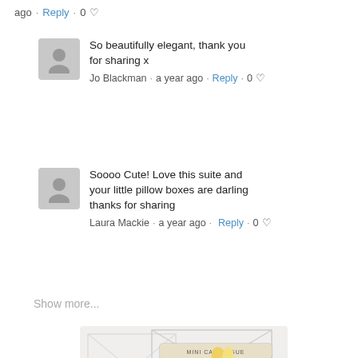ago · Reply · 0 ♡
So beautifully elegant, thank you for sharing x
Jo Blackman · a year ago · Reply · 0 ♡
Soooo Cute! Love this suite and your little pillow boxes are darling thanks for sharing
Laura Mackie · a year ago · Reply · 0 ♡
Show more...
[Figure (photo): Mini Catalogue cover with flowers and a greeting card, shown on a blog/website screenshot. Two circular buttons (up arrow in black, chat in blue-purple) overlay the bottom right.]